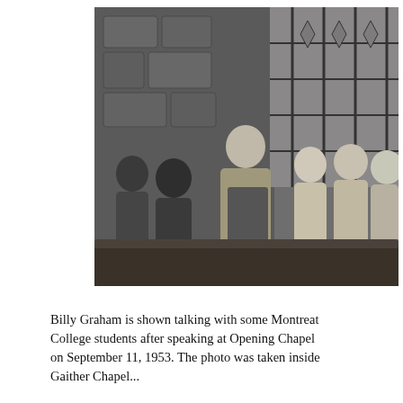[Figure (photo): Black and white photograph of Billy Graham standing and talking with a group of Montreat College students inside a stone chapel. Graham is in the center, wearing a sport coat, appearing to sign something or gesture. Several young women surround him, some holding books. Stained glass windows and stone walls are visible in the background.]
Billy Graham is shown talking with some Montreat College students after speaking at Opening Chapel on September 11, 1953. The photo was taken inside Gaither Chapel...